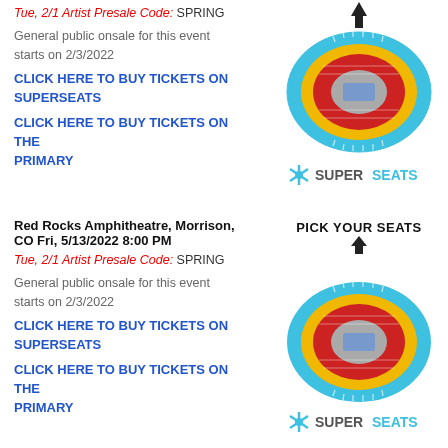Tue, 2/1 Artist Presale Code: SPRING
General public onsale for this event starts on 2/3/2022
CLICK HERE TO BUY TICKETS ON SUPERSEATS
CLICK HERE TO BUY TICKETS ON THE PRIMARY
[Figure (illustration): SuperSeats arena seating chart with arrow and logo]
Red Rocks Amphitheatre, Morrison, CO Fri, 5/13/2022 8:00 PM
Tue, 2/1 Artist Presale Code: SPRING
General public onsale for this event starts on 2/3/2022
CLICK HERE TO BUY TICKETS ON SUPERSEATS
CLICK HERE TO BUY TICKETS ON THE PRIMARY
[Figure (illustration): SuperSeats arena seating chart with PICK YOUR SEATS arrow and logo]